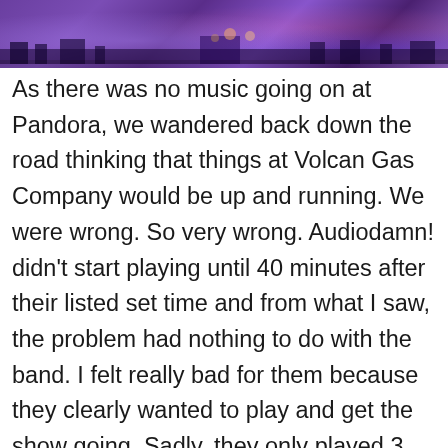[Figure (photo): Photograph strip showing a stage/concert scene with purple lighting, silhouettes visible against a purple-lit background.]
As there was no music going on at Pandora, we wandered back down the road thinking that things at Volcan Gas Company would be up and running. We were wrong. So very wrong. Audiodamn! didn't start playing until 40 minutes after their listed set time and from what I saw, the problem had nothing to do with the band. I felt really bad for them because they clearly wanted to play and get the show going. Sadly, they only played 3 songs. From what I can recall (it's been a long day) the bass blew out during their second song. They finally got it working again but by that point in time, they only had time left for one more song because they had gone so far